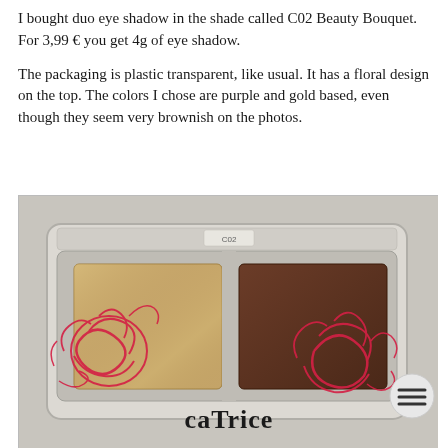I bought duo eye shadow in the shade called C02 Beauty Bouquet. For 3,99 € you get 4g of eye shadow.
The packaging is plastic transparent, like usual. It has a floral design on the top. The colors I chose are purple and gold based, even though they seem very brownish on the photos.
[Figure (photo): Photo of a Catrice duo eye shadow compact in shade C02 Beauty Bouquet. The compact has a transparent plastic case with red floral rose designs. Inside are two eye shadow pans: one shimmery gold/champagne color on the left and one dark brown/chocolate matte color on the right. The Catrice brand name is visible at the bottom of the compact. A circular menu icon appears in the lower right corner of the image.]